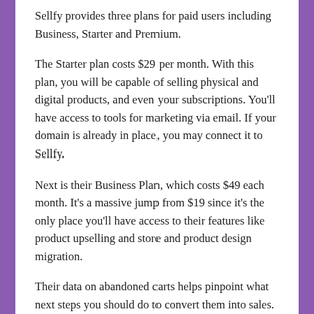Sellfy provides three plans for paid users including Business, Starter and Premium.
The Starter plan costs $29 per month. With this plan, you will be capable of selling physical and digital products, and even your subscriptions. You'll have access to tools for marketing via email. If your domain is already in place, you may connect it to Sellfy.
Next is their Business Plan, which costs $49 each month. It's a massive jump from $19 since it's the only place you'll have access to their features like product upselling and store and product design migration.
Their data on abandoned carts helps pinpoint what next steps you should do to convert them into sales. This subscription also allows the seller to take off Sellfy's logo on your site.
Their Premium Plan is the last starting at $99 a month. You'll be able to access all of their features, and even receive priority